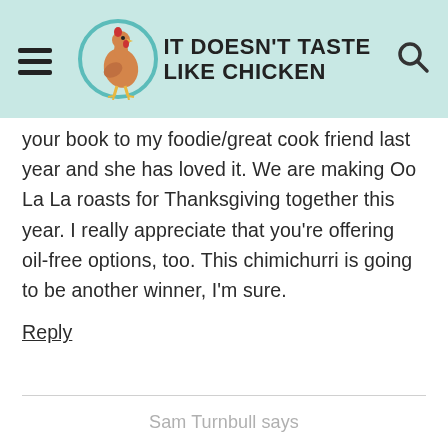IT DOESN'T TASTE LIKE CHICKEN
your book to my foodie/great cook friend last year and she has loved it. We are making Oo La La roasts for Thanksgiving together this year. I really appreciate that you're offering oil-free options, too. This chimichurri is going to be another winner, I'm sure.
Reply
Sam Turnbull says